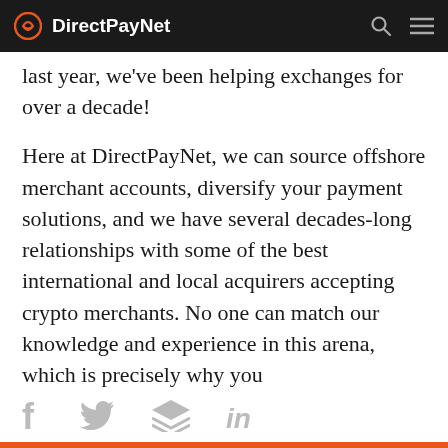DirectPayNet
last year, we've been helping exchanges for over a decade!
Here at DirectPayNet, we can source offshore merchant accounts, diversify your payment solutions, and we have several decades-long relationships with some of the best international and local acquirers accepting crypto merchants. No one can match our knowledge and experience in this arena, which is precisely why you